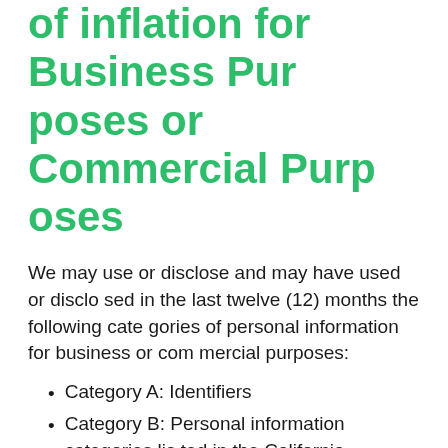of Inflation for Business Purposes or Commercial Purposes
We may use or disclose and may have used or disclosed in the last twelve (12) months the following categories of personal information for business or commercial purposes:
Category A: Identifiers
Category B: Personal information categories listed in the California Customer Records statute (Cal. Civ. Code § 1798.80(e))
Category F: Internet or other similar network activity
Please note that the categories listed above are those defined in the CCPA. This does not mean that all examples of that category of personal information were in fact disclosed, but reflects our good faith b